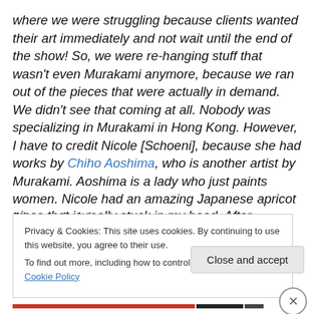where we were struggling because clients wanted their art immediately and not wait until the end of the show! So, we were re-hanging stuff that wasn't even Murakami anymore, because we ran out of the pieces that were actually in demand. We didn't see that coming at all. Nobody was specializing in Murakami in Hong Kong. However, I have to credit Nicole [Schoeni], because she had works by Chiho Aoshima, who is another artist by Murakami. Aoshima is a lady who just paints women. Nicole had an amazing Japanese apricot lithograph. It is a piece that is really stuck in my head. After seeing that, I
Privacy & Cookies: This site uses cookies. By continuing to use this website, you agree to their use.
To find out more, including how to control cookies, see here: Cookie Policy
Close and accept